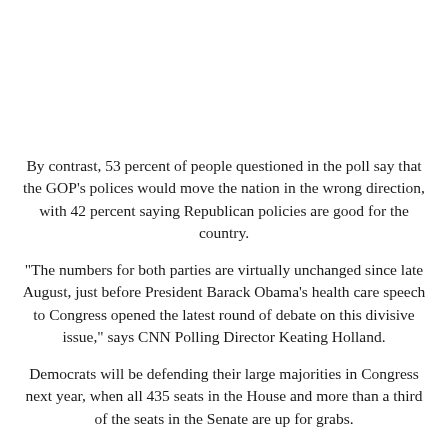By contrast, 53 percent of people questioned in the poll say that the GOP's polices would move the nation in the wrong direction, with 42 percent saying Republican policies are good for the country.
"The numbers for both parties are virtually unchanged since late August, just before President Barack Obama's health care speech to Congress opened the latest round of debate on this divisive issue," says CNN Polling Director Keating Holland.
Democrats will be defending their large majorities in Congress next year, when all 435 seats in the House and more than a third of the seats in the Senate are up for grabs.
"This advantage on policy could be an important edge for the Democrats heading into the 2010 midterm elections," adds Holland. "But independents will be the key to the midterms, and the numbers among independents spell bad news for both parties